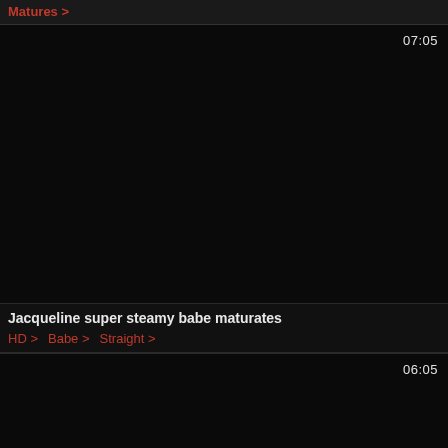Matures >
[Figure (screenshot): Dark video thumbnail for 'Jacqueline super steamy babe maturates', duration 07:05]
Jacqueline super steamy babe maturates
HD > Babe > Straight >
[Figure (screenshot): Dark video thumbnail, duration 06:05]